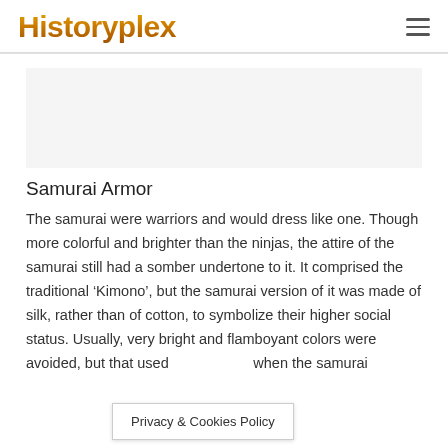Historyplex
Samurai Armor
The samurai were warriors and would dress like one. Though more colorful and brighter than the ninjas, the attire of the samurai still had a somber undertone to it. It comprised the traditional ‘Kimono’, but the samurai version of it was made of silk, rather than of cotton, to symbolize their higher social status. Usually, very bright and flamboyant colors were avoided, but that used when the samurai
Privacy & Cookies Policy